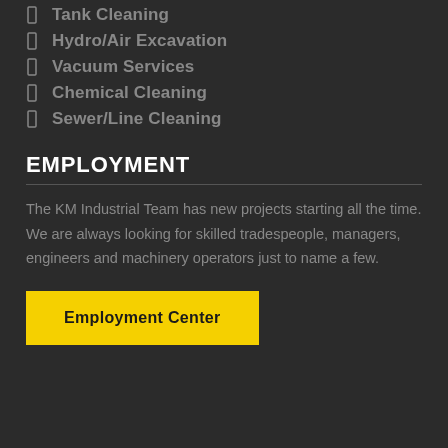Tank Cleaning
Hydro/Air Excavation
Vacuum Services
Chemical Cleaning
Sewer/Line Cleaning
EMPLOYMENT
The KM Industrial Team has new projects starting all the time. We are always looking for skilled tradespeople, managers, engineers and machinery operators just to name a few.
Employment Center